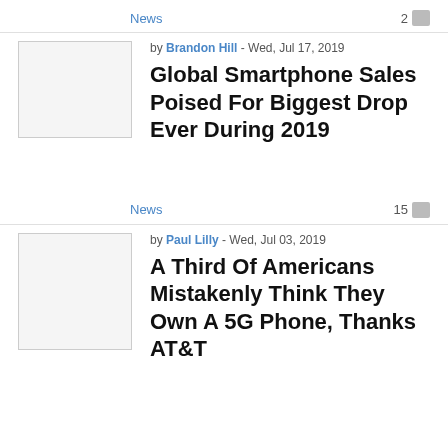News
2
by Brandon Hill - Wed, Jul 17, 2019
Global Smartphone Sales Poised For Biggest Drop Ever During 2019
[Figure (photo): Thumbnail image placeholder for first article]
News
15
by Paul Lilly - Wed, Jul 03, 2019
A Third Of Americans Mistakenly Think They Own A 5G Phone, Thanks AT&T
[Figure (photo): Thumbnail image placeholder for second article]